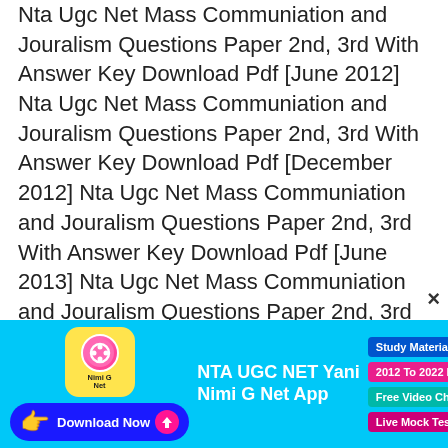Nta Ugc Net Mass Communiation and Jouralism Questions Paper 2nd, 3rd With Answer Key Download Pdf [June 2012]
Nta Ugc Net Mass Communiation and Jouralism Questions Paper 2nd, 3rd With Answer Key Download Pdf [December 2012]
Nta Ugc Net Mass Communiation and Jouralism Questions Paper 2nd, 3rd With Answer Key Download Pdf [June 2013]
Nta Ugc Net Mass Communiation and Jouralism Questions Paper 2nd, 3rd With Answer Key Download Pdf [December 2013]
Nta Ugc Net Mass Communiation and Jouralism Questions Paper 2nd, 3rd With
[Figure (infographic): Advertisement banner for NTA UGC NET Yani Nimi G Net App with download button and feature pills: Study Material For Paper 1-2, 2012 To 2022 PYQ Paper 1-2, Free Video Chasses Paper 1-2, Live Mock Test, Repeated Ques.]